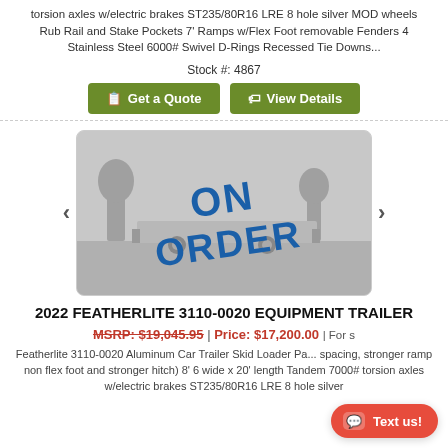torsion axles w/electric brakes ST235/80R16 LRE 8 hole silver MOD wheels Rub Rail and Stake Pockets 7' Ramps w/Flex Foot removable Fenders 4 Stainless Steel 6000# Swivel D-Rings Recessed Tie Downs...
Stock #: 4867
Get a Quote
View Details
[Figure (photo): Trailer photo with ON ORDER overlay text in blue diagonal stamp style, grayscale background photo of trailer on lot]
2022 FEATHERLITE 3110-0020 EQUIPMENT TRAILER
MSRP: $19,045.95 | Price: $17,200.00 | For s...
Featherlite 3110-0020 Aluminum Car Trailer Skid Loader Pa... spacing, stronger ramp non flex foot and stronger hitch) 8' 6 wide x 20' length Tandem 7000# torsion axles w/electric brakes ST235/80R16 LRE 8 hole silver